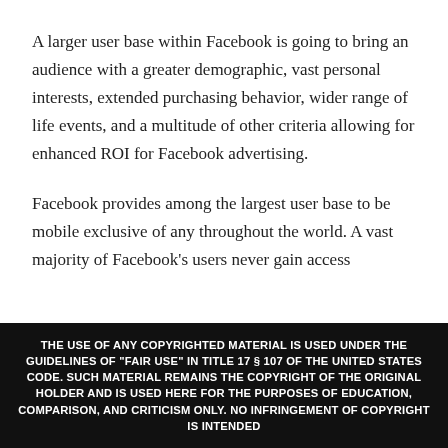A larger user base within Facebook is going to bring an audience with a greater demographic, vast personal interests, extended purchasing behavior, wider range of life events, and a multitude of other criteria allowing for enhanced ROI for Facebook advertising.
Facebook provides among the largest user base to be mobile exclusive of any throughout the world. A vast majority of Facebook's users never gain access
THE USE OF ANY COPYRIGHTED MATERIAL IS USED UNDER THE GUIDELINES OF "FAIR USE" IN TITLE 17 § 107 OF THE UNITED STATES CODE. SUCH MATERIAL REMAINS THE COPYRIGHT OF THE ORIGINAL HOLDER AND IS USED HERE FOR THE PURPOSES OF EDUCATION, COMPARISON, AND CRITICISM ONLY. NO INFRINGEMENT OF COPYRIGHT IS INTENDED